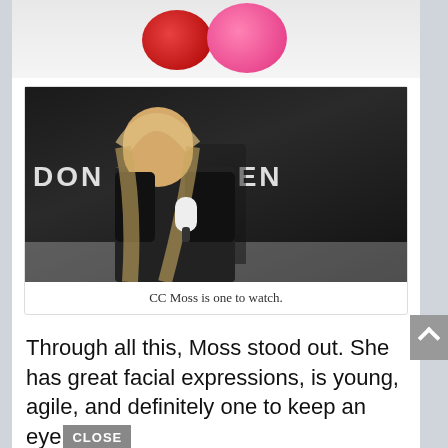[Figure (photo): Partial view of red glitter object and pink round object on white background (top crop)]
[Figure (photo): CC Moss holding a microphone at what appears to be Don K_V Arena, wearing black lace-up outfit with long blonde hair]
CC Moss is one to watch.
Through all this, Moss stood out. She has great facial expressions, is young, agile, and definitely one to keep an eye CLOSE
As for me, it was a good night out,